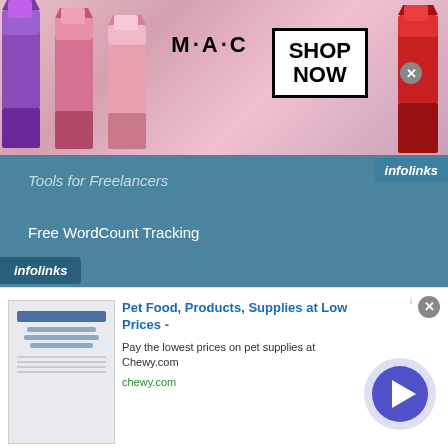[Figure (screenshot): MAC cosmetics advertisement banner with lipsticks and SHOP NOW button]
Tools for Freelancers
Free WordCount Tracking
Resources
Freelance Writing Resources
Resources for Writers
[Figure (screenshot): Chewy.com advertisement: Pet Food, Products, Supplies at Low Prices]